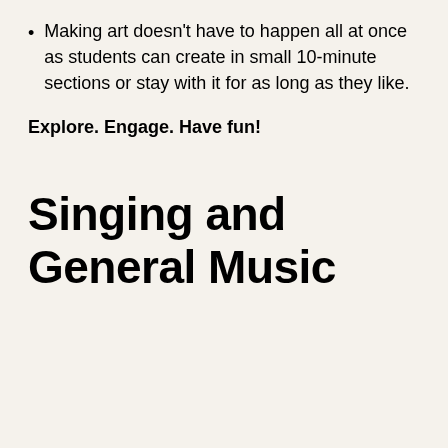Making art doesn't have to happen all at once as students can create in small 10-minute sections or stay with it for as long as they like.
Explore. Engage. Have fun!
Singing and General Music